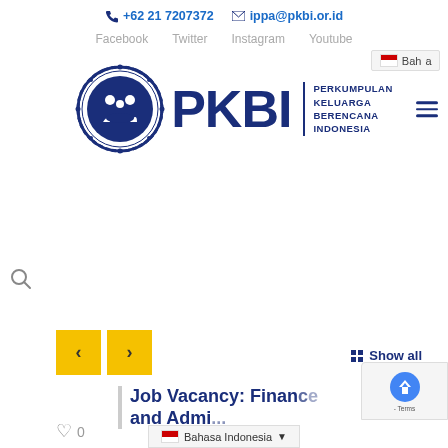+62 21 7207372  ippa@pkbi.or.id
Facebook  Twitter  Instagram  Youtube
Baha...
[Figure (logo): PKBI logo — Perkumpulan Keluarga Berencana Indonesia — circular emblem with family figures, dark navy blue]
Job Vacancy: Finance and Admi...
Show all